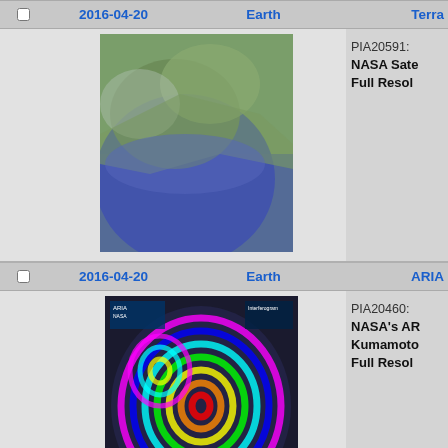|  | Date | Planet | Source/Spacecraft |
| --- | --- | --- | --- |
| ☐ | 2016-04-20 | Earth | Terra |
| [image: satellite view of coastline] |  |  | PIA20591: NASA Sate... Full Resol... |
| ☐ | 2016-04-20 | Earth | ARIA |
| [image: ARIA interferogram of Kumamoto] |  |  | PIA20460: NASA's AR... Kumamoto... Full Resol... |
| ☐ | 2016-03-21 | Earth | Terra |
| [image: satellite view of forest/terrain] |  |  | PIA20533: Persistent... Full Resol... |
| ☐ | 2016-03-16 | Earth | Terra |
| [image: satellite terrain view partial] |  |  | PIA20437: Mawuyn... |